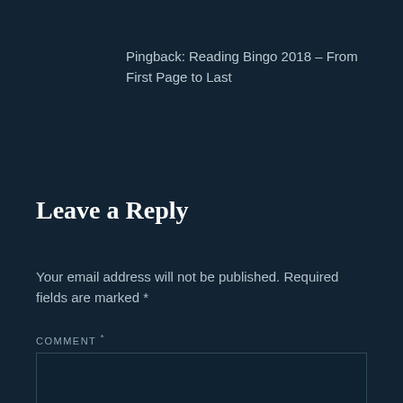Pingback: Reading Bingo 2018 – From First Page to Last
Leave a Reply
Your email address will not be published. Required fields are marked *
COMMENT *